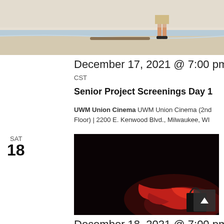[Figure (photo): Beach scene with a person standing on a log or driftwood near the water, sandy shore with waves in the background.]
December 17, 2021 @ 7:00 pm - 10:00 pm CST
Senior Project Screenings Day 1
UWM Union Cinema UWM Union Cinema (2nd Floor) | 2200 E. Kenwood Blvd., Milwaukee, WI
SAT
18
[Figure (photo): Dark scene with a red flowing fabric or cloth illuminated dramatically against a black background, with a black bag visible.]
December 18, 2021 @ 7:00 pm - 10:00 pm